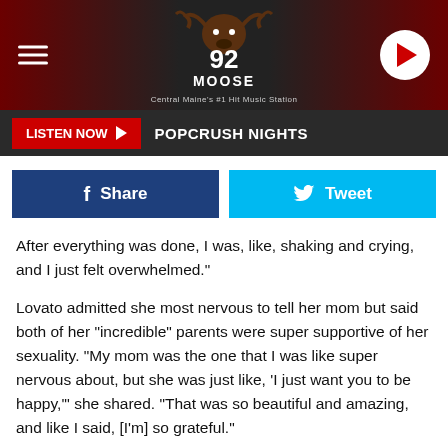[Figure (screenshot): 92 Moose radio station website header with logo, hamburger menu, and play button on dark gradient background]
[Figure (screenshot): Listen Now button with POPCRUSH NIGHTS show name on dark bar]
[Figure (screenshot): Facebook Share and Twitter Tweet social sharing buttons]
After everything was done, I was, like, shaking and crying, and I just felt overwhelmed."
Lovato admitted she most nervous to tell her mom but said both of her "incredible" parents were super supportive of her sexuality. "My mom was the one that I was like super nervous about, but she was just like, 'I just want you to be happy,'" she shared. "That was so beautiful and amazing, and like I said, [I'm] so grateful."
Elsewhere in her interview, the 27-year-old pop star also discussed her desire to have children in the next decade